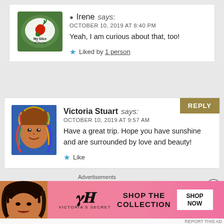[Figure (illustration): My Slice of Mexico logo: green oval with red/green chili pepper illustration]
Irene says:
OCTOBER 10, 2019 AT 8:40 PM
Yeah, I am curious about that, too!
Liked by 1 person
[Figure (illustration): Victoria Stuart avatar: colorful painted portrait of woman with braids]
Victoria Stuart says:
OCTOBER 10, 2019 AT 9:57 AM
Have a great trip. Hope you have sunshine and are surrounded by love and beauty!
Like
Advertisements
[Figure (photo): Victoria's Secret advertisement banner: woman with curly hair, VS logo, SHOP THE COLLECTION, SHOP NOW button]